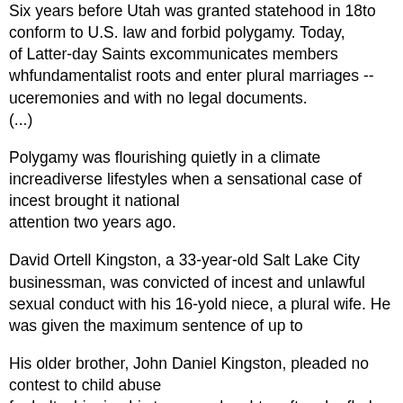Six years before Utah was granted statehood in 1896, the church was forced to conform to U.S. law and forbid polygamy. Today, the mainstream Church of Latter-day Saints excommunicates members who honor the practice's fundamentalist roots and enter plural marriages -- usually conducted in secret ceremonies and with no legal documents.
(...)
Polygamy was flourishing quietly in a climate increasingly tolerant of diverse lifestyles when a sensational case of incest brought it to national attention two years ago.
David Ortell Kingston, a 33-year-old Salt Lake City businessman, was convicted of incest and unlawful sexual conduct with his 16-year-old niece, a plural wife. He was given the maximum sentence of up to...
His older brother, John Daniel Kingston, pleaded no contest to child abuse for belt-whipping his teenage daughter after she fled the family and received a 28-week sentence. The union had been arranged by the Latter Day Church of God, an affluent Mormon splinter group with about 1,500 members.
An investigation that year by The Salt Lake Tribune...